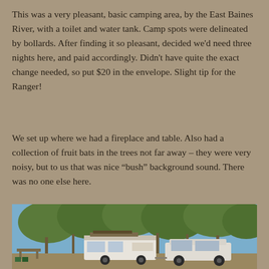This was a very pleasant, basic camping area, by the East Baines River, with a toilet and water tank. Camp spots were delineated by bollards. After finding it so pleasant, decided we'd need three nights here, and paid accordingly. Didn't have quite the exact change needed, so put $20 in the envelope. Slight tip for the Ranger!
We set up where we had a fireplace and table. Also had a collection of fruit bats in the trees not far away – they were very noisy, but to us that was nice “bush” background sound. There was no one else here.
[Figure (photo): Outdoor camping scene showing two white vehicles (a caravan/camper trailer and a 4WD) parked among tall trees with green foliage and a blue sky. A picnic table is visible to the left. The scene appears to be at a remote bush campsite.]